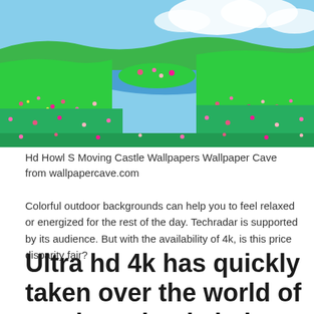[Figure (illustration): Colorful animated landscape with green grassy hills covered in pink wildflowers, a blue river or lake in the middle distance, and a partly cloudy blue sky — resembling artwork from Howl's Moving Castle.]
Hd Howl S Moving Castle Wallpapers Wallpaper Cave from wallpapercave.com
Colorful outdoor backgrounds can help you to feel relaxed or energized for the rest of the day. Techradar is supported by its audience. But with the availability of 4k, is this price disparity fair?
Ultra hd 4k has quickly taken over the world of tvs, but what is it, how does it work, and should you